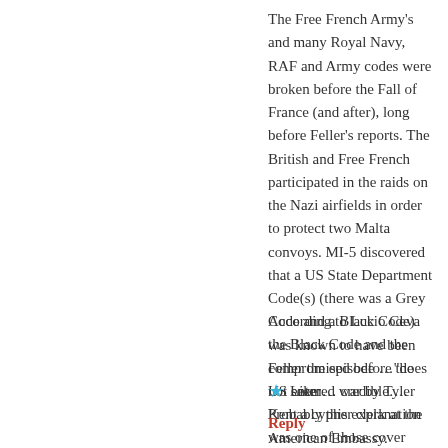The Free French Army's and many Royal Navy, RAF and Army codes were broken before the Fall of France (and after), long before Feller's reports. The British and Free French participated in the raids on the Nazi airfields in order to protect two Malta convoys. MI-5 discovered that a US State Department Code(s) (there was a Grey Code and a Black Code) was known to have been compromised before the US entered war by Tyler Kent a cypher clerk at the American Embassy. Oxford Companion to World War II. Other public cites omitted. The Italian Archives and selected British and American Archives remain closed.
According to Lucio Ceva the Black Code and the Feller the episode …"does not seem… credible…. Probably this explanation was one of those cover stories not infrequent in matters where national security is involved." Inter alia, Lucio Ceva .
★ Like
Reply